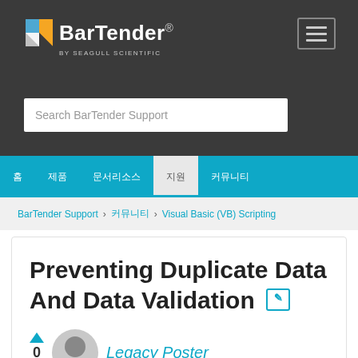[Figure (logo): BarTender by Seagull Scientific logo with navigation hamburger menu icon]
Search BarTender Support
홈  제품  문서리소스  지원  커뮤니티
BarTender Support > 커뮤니티 > Visual Basic (VB) Scripting
Preventing Duplicate Data And Data Validation
Legacy Poster
0